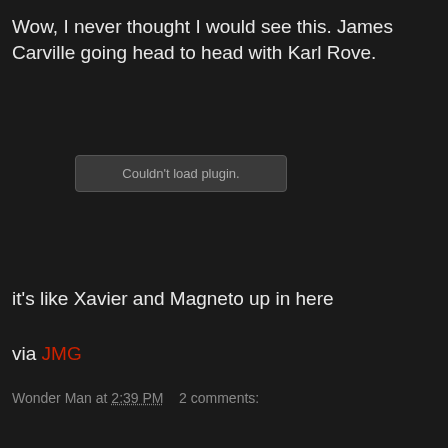Wow, I never thought I would see this. James Carville going head to head with Karl Rove.
[Figure (other): Embedded media plugin placeholder showing 'Couldn't load plugin.']
it's like Xavier and Magneto up in here
via JMG
Wonder Man at 2:39 PM    2 comments:
Share